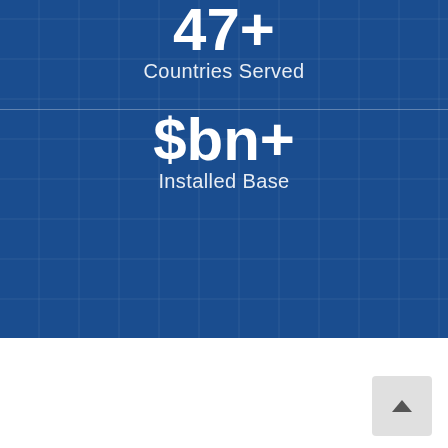47+
Countries Served
$bn+
Installed Base